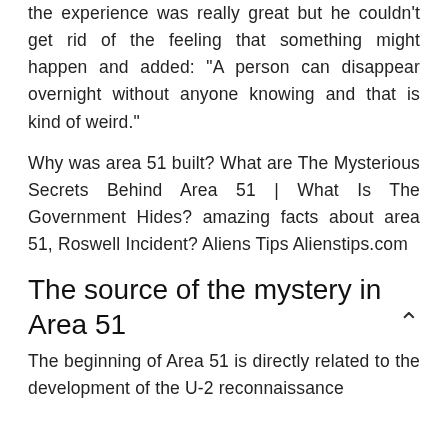the experience was really great but he couldn't get rid of the feeling that something might happen and added: “A person can disappear overnight without anyone knowing and that is kind of weird.”
Why was area 51 built? What are The Mysterious Secrets Behind Area 51 | What Is The Government Hides? amazing facts about area 51, Roswell Incident? Aliens Tips Alienstips.com
The source of the mystery in Area 51
The beginning of Area 51 is directly related to the development of the U-2 reconnaissance